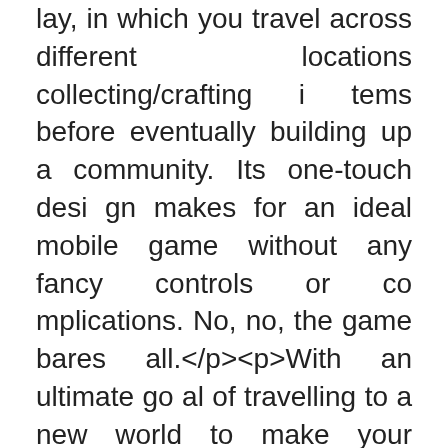lay, in which you travel across different locations collecting/crafting items before eventually building up a community. Its one-touch design makes for an ideal mobile game without any fancy controls or complications. No, no, the game bares all.</p><p>With an ultimate goal of travelling to a new world to make your fortune, this free-to-play game should be quite an interesting one to keep an eye on.</p><p>It's currently soft-launched on iOS in the Philippines and hopefully it won't take too long to extend the launch further…like here…in the UK.</p>◆
◆◆And then she laughed in spite of herself. It sounded so like an echo of Miss Cornelia.
◆&#;Inertia: Escape Velocity HD Mod Inertia: Escape Velocity HD V1.8 Features:Much moneyInertia: Escape Velocity HD is a platformer with 3D graphics and incredibly beautiful bekgraunda and locations. You play as a space robot is a high-tech scavenger named Hermes. Your task is to pass a short but very exciting levels, jump over barriers and obstacles and collect space debris. In the game Inerti